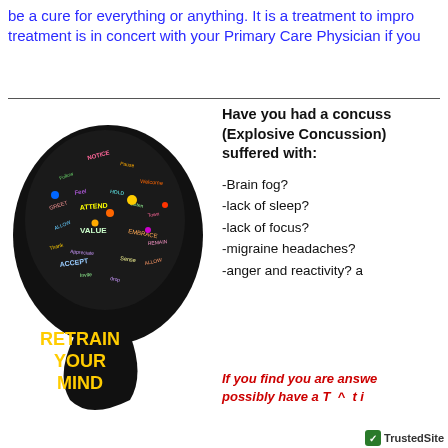be a cure for everything or anything. It is a treatment to impro treatment is in concert with your Primary Care Physician if you
[Figure (illustration): Black silhouette of a human head profile with colorful word cloud inside the brain area. Words include: Follow, Notice, Pause, Feel, Attend, Value, Accept, Appreciate, Allow, Embrace, Sense, etc. Yellow bold text at bottom reads: RETRAIN YOUR MIND]
Have you had a concuss (Explosive Concussion) suffered with:
-Brain fog?
-lack of sleep?
-lack of focus?
-migraine headaches?
-anger and reactivity? a
If you find you are answe possibly have a T  ^  t i
TrustedSite